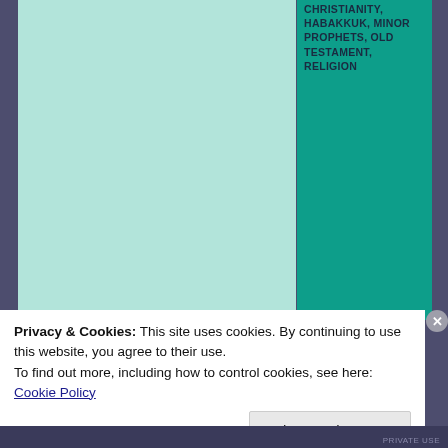[Figure (screenshot): Website screenshot showing a light teal book cover image on the left panel and a dark teal sidebar on the right panel with category tags: CHRISTIANITY, HABAKKUK, MINOR PROPHETS, OLD TESTAMENT, RELIGION]
CHRISTIANITY, HABAKKUK, MINOR PROPHETS, OLD TESTAMENT, RELIGION
Privacy & Cookies: This site uses cookies. By continuing to use this website, you agree to their use.
To find out more, including how to control cookies, see here: Cookie Policy
Close and accept